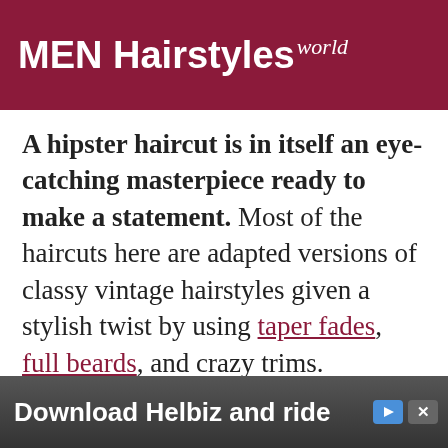MEN Hairstyles world
A hipster haircut is in itself an eye-catching masterpiece ready to make a statement. Most of the haircuts here are adapted versions of classy vintage hairstyles given a stylish twist by using taper fades, full beards, and crazy trims.
Scroll down and enter into the hipster world, where daring
[Figure (screenshot): Advertisement banner at the bottom reading 'Download Helbiz and ride' with a background showing a person with a camera, and ad control icons (play and close buttons) in the top right.]